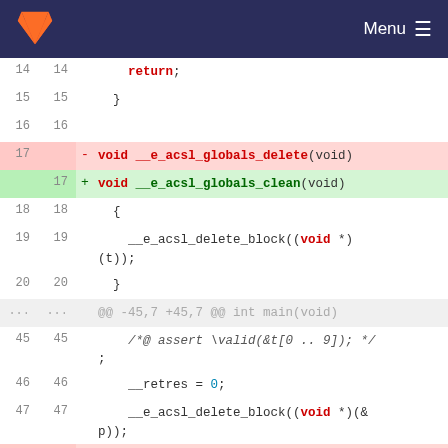GitLab — Menu
Code diff showing changes from __e_acsl_globals_delete to __e_acsl_globals_clean in C source file
14  14      return;
15  15    }
16  16
17  -  void __e_acsl_globals_delete(void)
17  +  void __e_acsl_globals_clean(void)
18  18    {
19  19      __e_acsl_delete_block((void *)(t));
20  20    }
...  ...  @@ -45,7 +45,7 @@ int main(void)
45  45      /*@ assert \valid(&t[0 .. 9]); */;
46  46      __retres = 0;
47  47      __e_acsl_delete_block((void *)(&p));
48  -      __e_acsl_globals_delete();
48  +      __e_acsl_globals_clean();
49  49      __e_acsl_memory_clean();
50  50      return __retres;
51  51    }